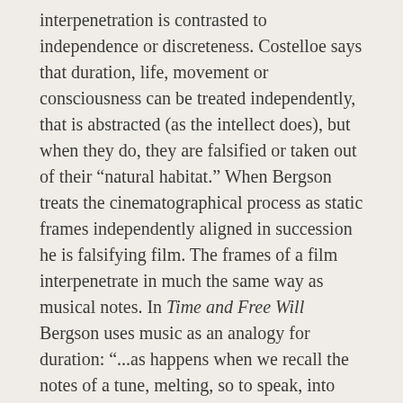interpenetration is contrasted to independence or discreteness. Costelloe says that duration, life, movement or consciousness can be treated independently, that is abstracted (as the intellect does), but when they do, they are falsified or taken out of their “natural habitat.” When Bergson treats the cinematographical process as static frames independently aligned in succession he is falsifying film. The frames of a film interpenetrate in much the same way as musical notes. In Time and Free Will Bergson uses music as an analogy for duration: “...as happens when we recall the notes of a tune, melting, so to speak, into one another” (100). Seeing that interpenetration plays such a pivotal role in duration, film can not be excluded from its realm.
There is yet another way that film can be salvaged from Bergson’s critique (in his terms) and brought into the realm of real time and duration. In the same article Costelloe discusses the experience of a man listening to the same musical piece twice. Although the piece remains the same,